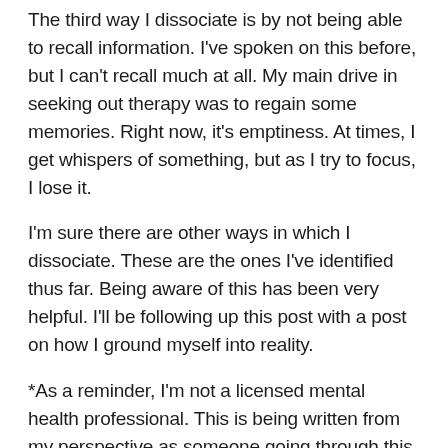The third way I dissociate is by not being able to recall information. I've spoken on this before, but I can't recall much at all. My main drive in seeking out therapy was to regain some memories. Right now, it's emptiness. At times, I get whispers of something, but as I try to focus, I lose it.
I'm sure there are other ways in which I dissociate. These are the ones I've identified thus far. Being aware of this has been very helpful. I'll be following up this post with a post on how I ground myself into reality.
*As a reminder, I'm not a licensed mental health professional. This is being written from my perspective as someone going through this. If you need professional assistance, please reach out to a mental health professional.